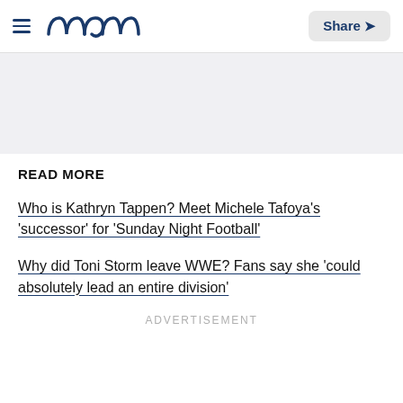Meaww | Share
READ MORE
Who is Kathryn Tappen? Meet Michele Tafoya's 'successor' for 'Sunday Night Football'
Why did Toni Storm leave WWE? Fans say she 'could absolutely lead an entire division'
ADVERTISEMENT